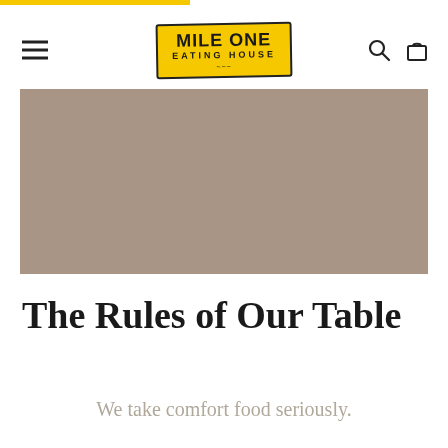[Figure (logo): Mile One Eating House logo — bold text on yellow background with torn-paper style border]
[Figure (photo): Hero image placeholder — solid taupe/tan colored rectangle representing a restaurant food or interior photo]
The Rules of Our Table
We take comfort food seriously.